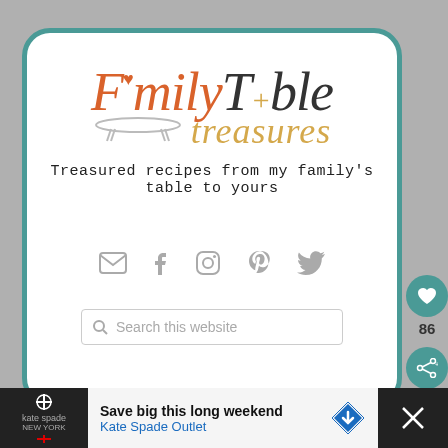[Figure (logo): Family Table Treasures logo with orange italic 'Family' text with a heart, dark 'Table' text, gold cursive 'treasures' text, and a table illustration]
Treasured recipes from my family's table to yours
[Figure (infographic): Social media icons: email/envelope, Facebook, Instagram, Pinterest, Twitter in gray]
[Figure (screenshot): Search bar with magnifying glass icon and placeholder text 'Search this website']
[Figure (infographic): Floating like button with teal heart (86 count) and share button]
[Figure (screenshot): Ad banner: Kate Spade Outlet - Save big this long weekend]